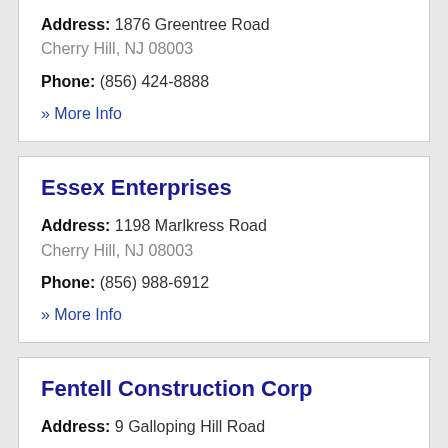Address: 1876 Greentree Road
Cherry Hill, NJ 08003
Phone: (856) 424-8888
» More Info
Essex Enterprises
Address: 1198 Marlkress Road
Cherry Hill, NJ 08003
Phone: (856) 988-6912
» More Info
Fentell Construction Corp
Address: 9 Galloping Hill Road